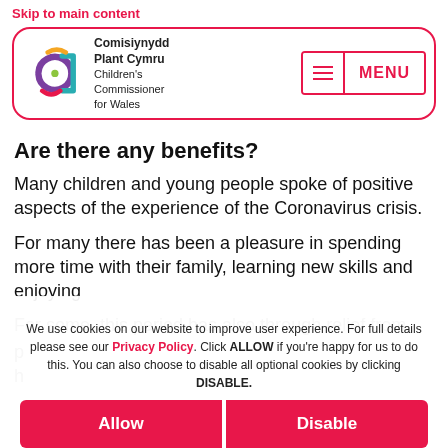Skip to main content
[Figure (logo): Comisiynydd Plant Cymru / Children's Commissioner for Wales logo with colorful circular design and menu button]
Are there any benefits?
Many children and young people spoke of positive aspects of the experience of the Coronavirus crisis.
For many there has been a pleasure in spending more time with their family, learning new skills and enjoying
For some, this period has also through relief from
We use cookies on our website to improve user experience. For full details please see our Privacy Policy. Click ALLOW if you're happy for us to do this. You can also choose to disable all optional cookies by clicking DISABLE.